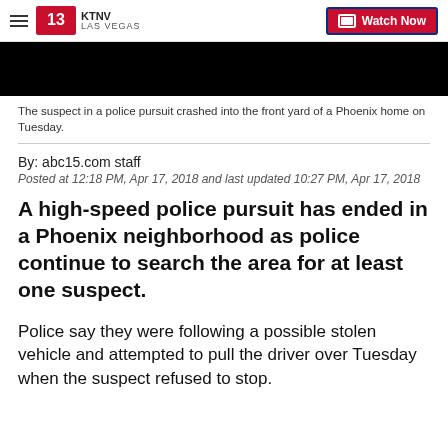KTNV LAS VEGAS | Watch Now
[Figure (screenshot): Black video thumbnail showing top portion of a news clip]
The suspect in a police pursuit crashed into the front yard of a Phoenix home on Tuesday.
By: abc15.com staff
Posted at 12:18 PM, Apr 17, 2018 and last updated 10:27 PM, Apr 17, 2018
A high-speed police pursuit has ended in a Phoenix neighborhood as police continue to search the area for at least one suspect.
Police say they were following a possible stolen vehicle and attempted to pull the driver over Tuesday when the suspect refused to stop.